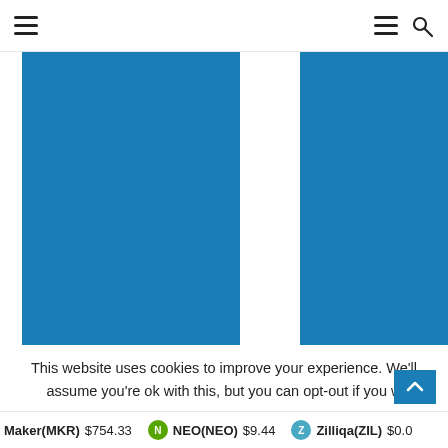Navigation header with hamburger menus and search icon
[Figure (bar-chart): Two tall blue bars representing cryptocurrency data values, partially cropped. Left bar is taller and wider, right bar is narrower. Both bars are steel blue color (#1a7db5). Chart background is white.]
This website uses cookies to improve your experience. We'll assume you're ok with this, but you can opt-out if you w
Maker(MKR) $754.33   NEO(NEO) $9.44   Zilliqa(ZIL) $0.0